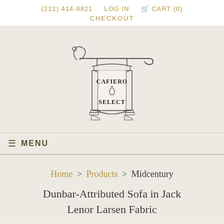(212) 414-8821   LOG IN   🛒 CART (0)   CHECKOUT
[Figure (logo): Cafiero Select ornate hanging sign logo with scrollwork bracket]
≡ MENU
Home > Products > Midcentury Dunbar-Attributed Sofa in Jack Lenor Larsen Fabric